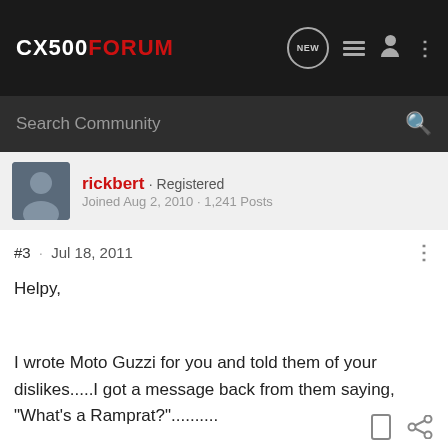CX500FORUM
Search Community
rickbert · Registered
Joined Aug 2, 2010 · 1,241 Posts
#3 · Jul 18, 2011
Helpy,

I wrote Moto Guzzi for you and told them of your dislikes.....I got a message back from them saying, "What's a Ramprat?".........